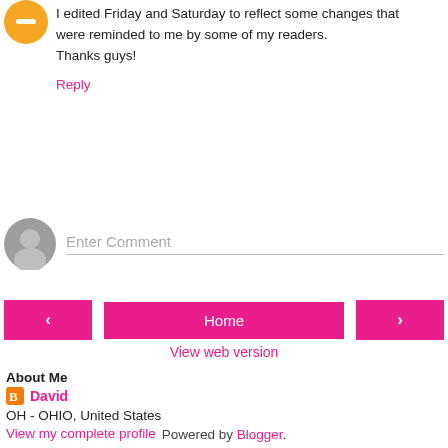[Figure (illustration): Orange circular avatar icon with minus symbol, top-left]
I edited Friday and Saturday to reflect some changes that were reminded to me by some of my readers.
Thanks guys!
Reply
[Figure (illustration): Gray default user avatar circle for comment input]
Enter Comment
< Home >
View web version
About Me
[Figure (logo): Blogger B logo icon in orange square]
David
OH - OHIO, United States
View my complete profile
Powered by Blogger.